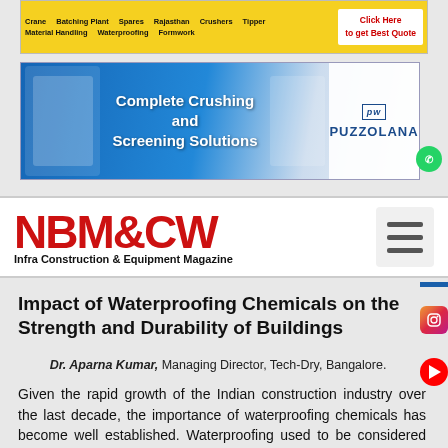[Figure (other): Yellow advertisement banner for building materials suppliers listing products: Crane, Crushers, Batching Plant, Spares, Rajasthan, Precast, Tipper, Material Handling, Waterproofing, Formwork with 'Click Here to get Best Quote' button]
[Figure (other): Blue Puzzolana advertisement banner: 'Complete Crushing and Screening Solutions' with machinery images and Puzzolana logo]
[Figure (logo): NBM&CW - Infra Construction & Equipment Magazine logo with hamburger menu icon]
Impact of Waterproofing Chemicals on the Strength and Durability of Buildings
Dr. Aparna Kumar, Managing Director, Tech-Dry, Bangalore.
Given the rapid growth of the Indian construction industry over the last decade, the importance of waterproofing chemicals has become well established. Waterproofing used to be considered as a part of the repair market